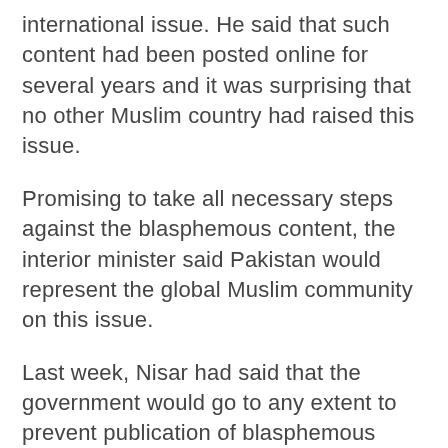international issue. He said that such content had been posted online for several years and it was surprising that no other Muslim country had raised this issue.
Promising to take all necessary steps against the blasphemous content, the interior minister said Pakistan would represent the global Muslim community on this issue.
Last week, Nisar had said that the government would go to any extent to prevent publication of blasphemous content on the internet after a Pakistani court ordered the government to open an investigation into online blasphemy.
Islamabad High Court (IHC) had ordered the government to block blasphemous content from the social media, directing authorities to put names of the